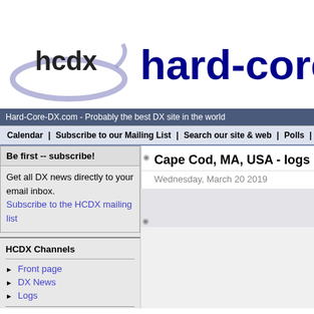[Figure (logo): HCDX logo with swoosh graphic]
hard-core
Hard-Core-DX.com - Probably the best DX site in the world
Calendar | Subscribe to our Mailing List | Search our site & web | Polls | About | Antenna
Be first -- subscribe!
Get all DX news directly to your email inbox. Subscribe to the HCDX mailing list
HCDX Channels
Front page
DX News
Logs
Special:
Antennas
DX Lab
Latin America:
Andes DX
Partner Channels
QSL News
Cape Cod, MA, USA - logs (mid-FEB to
Wednesday, March 20 2019